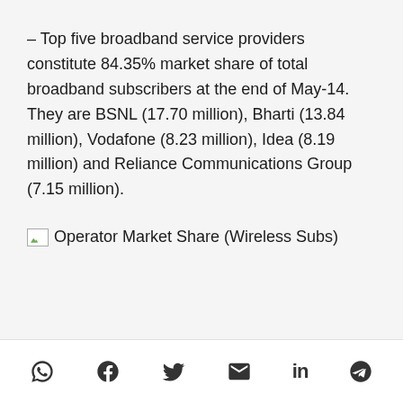– Top five broadband service providers constitute 84.35% market share of total broadband subscribers at the end of May-14. They are BSNL (17.70 million), Bharti (13.84 million), Vodafone (8.23 million), Idea (8.19 million) and Reliance Communications Group (7.15 million).
Operator Market Share (Wireless Subs)
[Figure (other): Social media sharing icons row: WhatsApp, Facebook, Twitter, Email, LinkedIn, Telegram]